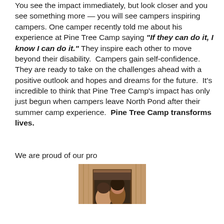You see the impact immediately, but look closer and you see something more — you will see campers inspiring campers. One camper recently told me about his experience at Pine Tree Camp saying "If they can do it, I know I can do it." They inspire each other to move beyond their disability. Campers gain self-confidence. They are ready to take on the challenges ahead with a positive outlook and hopes and dreams for the future. It's incredible to think that Pine Tree Camp's impact has only just begun when campers leave North Pond after their summer camp experience. Pine Tree Camp transforms lives.
We are proud of our pro
[Figure (photo): Two people visible through a wooden frame, appearing to be indoors at a camp setting.]